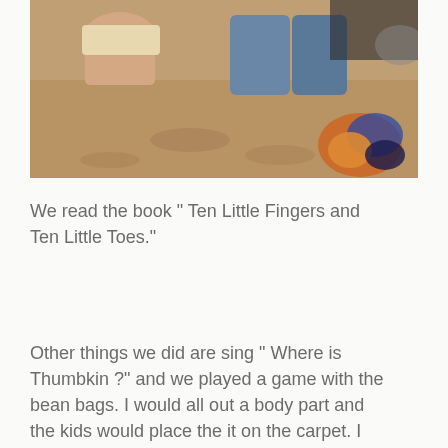[Figure (photo): Children sitting on a carpet floor, one in shorts and one in jeans, with a colorful toy visible in the bottom right corner.]
We read the book “ Ten Little Fingers and Ten Little Toes.”
Other things we did are sing “ Where is Thumbkin ?” and we played a game with the bean bags. I would all out a body part and the kids would place the it on the carpet. I would then ask all the students to